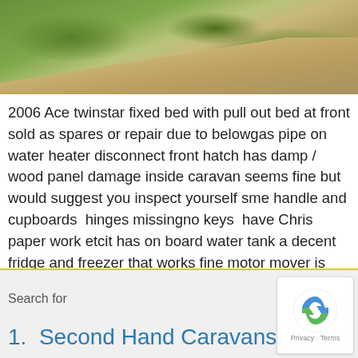[Figure (photo): Partial photo showing green grass and a gravel/sandy path or driveway, outdoor setting]
2006 Ace twinstar fixed bed with pull out bed at front sold as spares or repair due to belowgas pipe on  water heater disconnect front hatch has damp / wood panel damage inside caravan seems fine but would suggest you inspect yourself sme handle and cupboards  hinges missingno keys  have Chris paper work etcit has on board water tank a decent fridge and freezer that works fine motor mover is fitted but no remote oven and grill very clean with little useend bathroom toilet and all water taps have been unchecked by myself as I bought it for a house building site but need the hot water system to work and have very limited time to repair anything as working full time and trying to build a house.can send media or live videos if require I know
Search for
1.  Second Hand Caravans